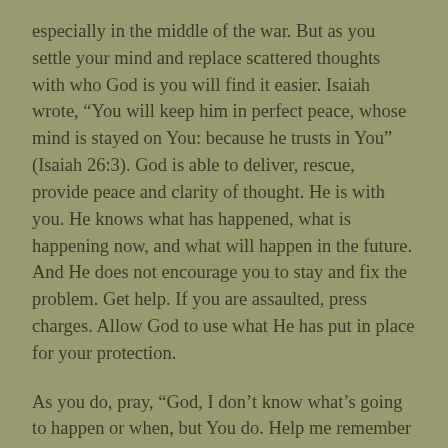especially in the middle of the war. But as you settle your mind and replace scattered thoughts with who God is you will find it easier. Isaiah wrote, “You will keep him in perfect peace, whose mind is stayed on You: because he trusts in You” (Isaiah 26:3). God is able to deliver, rescue, provide peace and clarity of thought. He is with you. He knows what has happened, what is happening now, and what will happen in the future. And He does not encourage you to stay and fix the problem. Get help. If you are assaulted, press charges. Allow God to use what He has put in place for your protection.
As you do, pray, “God, I don’t know what’s going to happen or when, but You do. Help me remember that You are with me. Please be my strength and my song. Protect me. Give me the ability to think clearly and focus on what needs to be done so I can honor You. Amen.”